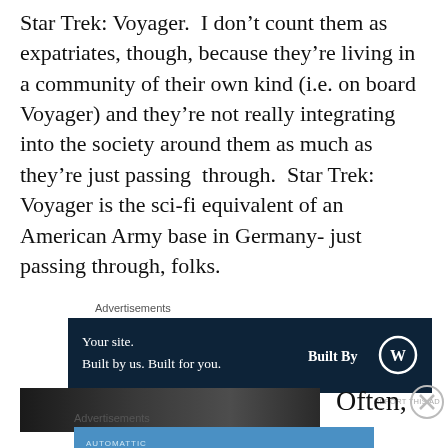Star Trek: Voyager. I don't count them as expatriates, though, because they're living in a community of their own kind (i.e. on board Voyager) and they're not really integrating into the society around them as much as they're just passing through. Star Trek: Voyager is the sci-fi equivalent of an American Army base in Germany- just passing through, folks.
Advertisements
[Figure (screenshot): WordPress.com advertisement banner: 'Your site. Built by us. Built for you.' with 'Built By' WordPress logo on dark navy background]
REPORT THIS AD
Often,
Advertisements
[Figure (screenshot): Automattic advertisement banner: 'Love working again.' on blue background]